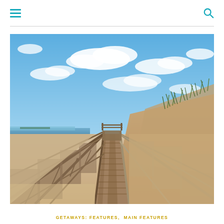Navigation menu and search icons
[Figure (photo): A wooden boardwalk leading toward a beach with sandy dunes and green coastal grasses on the right, blue sky with white clouds above, and a calm body of water visible on the left horizon.]
GETAWAYS: FEATURES,  MAIN FEATURES